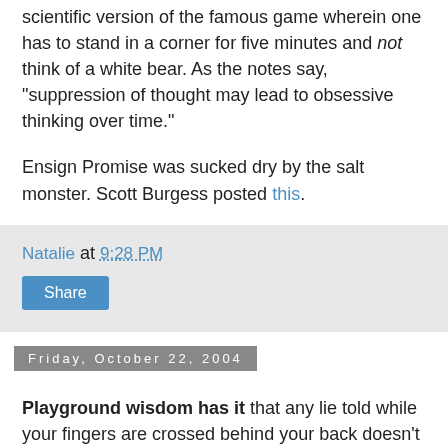scientific version of the famous game wherein one has to stand in a corner for five minutes and not think of a white bear. As the notes say, "suppression of thought may lead to obsessive thinking over time."
Ensign Promise was sucked dry by the salt monster. Scott Burgess posted this.
Natalie at 9:28 PM
Share
Friday, October 22, 2004
Playground wisdom has it that any lie told while your fingers are crossed behind your back doesn't count. The same view is shared by the Stop the War Coalition. They now claim that the notorious email to StWC supporters in which they said
"The StWC reaffirms its call for an end to the